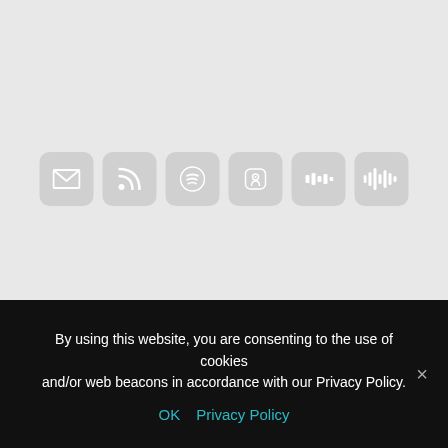[Figure (other): Row of six social/subscription icon buttons: email, RSS feed, Spotify, Apple Podcasts, another podcast app, and Google Podcasts/waveform icon. All on light gray rounded square buttons.]
[Figure (logo): Strategy Generation Company logo: two concentric circles (outer teal, inner gray) with a tilde/wave symbol inside, next to the text 'Strategy Generation Company' in dark sans-serif font.]
Terms Of Use | Privacy Policy
By using this website, you are consenting to the use of cookies and/or web beacons in accordance with our Privacy Policy.
OK   Privacy Policy